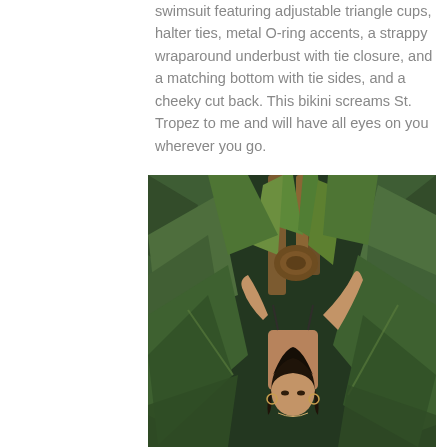swimsuit featuring adjustable triangle cups, halter ties, metal O-ring accents, a strappy wraparound underbust with tie closure, and a matching bottom with tie sides, and a cheeky cut back. This bikini screams St. Tropez to me and will have all eyes on you wherever you go.
[Figure (photo): A woman in a bikini posing with arms raised among large tropical green leaves and plants, photographed in a moody, warm-toned editorial style.]